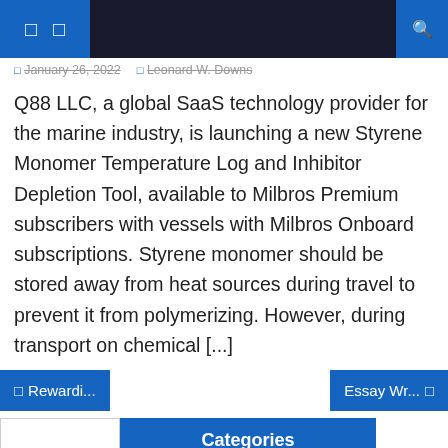Navigation header with icons and search
January 26, 2022   Leonard W. Downs
Q88 LLC, a global SaaS technology provider for the marine industry, is launching a new Styrene Monomer Temperature Log and Inhibitor Depletion Tool, available to Milbros Premium subscribers with vessels with Milbros Onboard subscriptions. Styrene monomer should be stored away from heat sources during travel to prevent it from polymerizing. However, during transport on chemical [...]
Categories
Example blog
Example content
Example essay